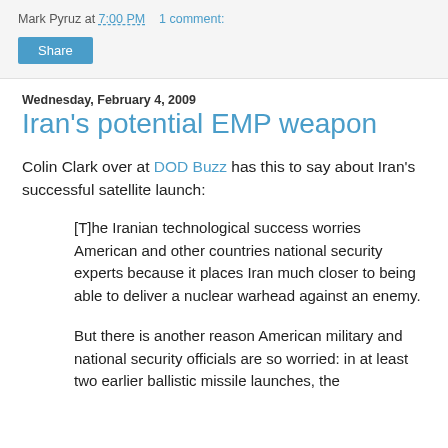Mark Pyruz at 7:00 PM   1 comment:
Share
Wednesday, February 4, 2009
Iran's potential EMP weapon
Colin Clark over at DOD Buzz has this to say about Iran's successful satellite launch:
[T]he Iranian technological success worries American and other countries national security experts because it places Iran much closer to being able to deliver a nuclear warhead against an enemy.
But there is another reason American military and national security officials are so worried: in at least two earlier ballistic missile launches, the